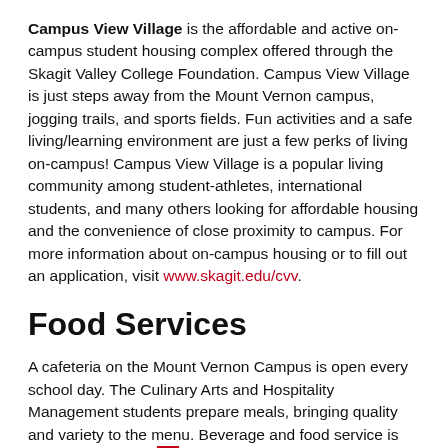Campus View Village is the affordable and active on-campus student housing complex offered through the Skagit Valley College Foundation. Campus View Village is just steps away from the Mount Vernon campus, jogging trails, and sports fields. Fun activities and a safe living/learning environment are just a few perks of living on-campus! Campus View Village is a popular living community among student-athletes, international students, and many others looking for affordable housing and the convenience of close proximity to campus. For more information about on-campus housing or to fill out an application, visit www.skagit.edu/cvv.
Food Services
A cafeteria on the Mount Vernon Campus is open every school day. The Culinary Arts and Hospitality Management students prepare meals, bringing quality and variety to the menu. Beverage and food service is also available in the Student Lounge at the Whidbey Island Campus.